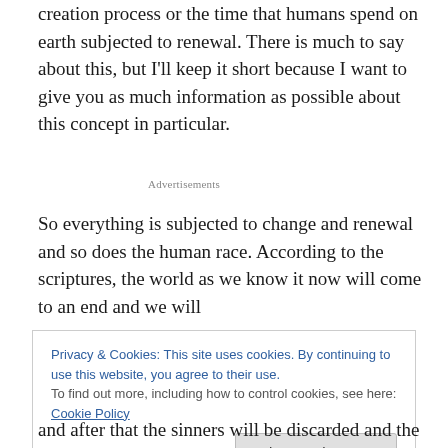creation process or the time that humans spend on earth subjected to renewal. There is much to say about this, but I'll keep it short because I want to give you as much information as possible about this concept in particular.
Advertisements
So everything is subjected to change and renewal and so does the human race. According to the scriptures, the world as we know it now will come to an end and we will
Privacy & Cookies: This site uses cookies. By continuing to use this website, you agree to their use.
To find out more, including how to control cookies, see here: Cookie Policy
and after that the sinners will be discarded and the